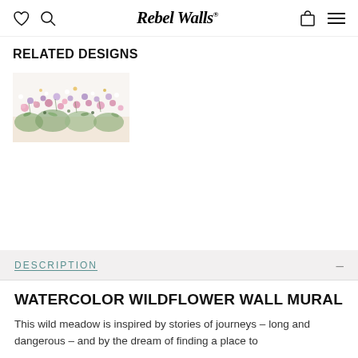Rebel Walls
RELATED DESIGNS
[Figure (photo): A wildflower meadow mural thumbnail image showing colorful watercolor wildflowers including pink, purple, and white blooms against a white background]
DESCRIPTION
WATERCOLOR WILDFLOWER WALL MURAL
This wild meadow is inspired by stories of journeys – long and dangerous – and by the dream of finding a place to